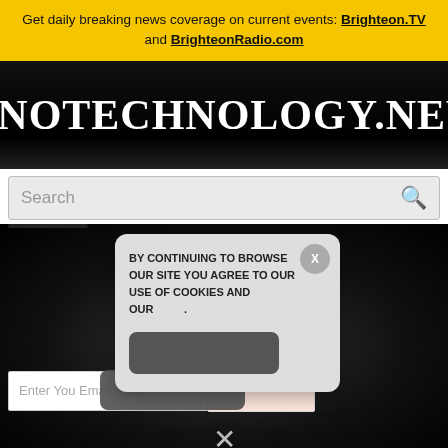Get daily breaking news coverage on current events: Brighteon.TV and BrighteonRadio.com
NANOTECHNOLOGY.NEWS
[Figure (screenshot): Search bar with gray background and magnifying glass icon]
[Figure (screenshot): Cookie consent popup overlay on dark background reading 'BY CONTINUING TO BROWSE OUR SITE YOU AGREE TO OUR USE OF COOKIES AND OUR .' with a dark button and X close button. Below is an email input field and pink box. A large X close button at bottom center.]